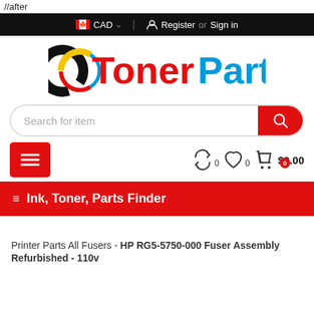//after
CAD | Register or Sign in
[Figure (logo): TonerParts logo with colorful circular icon (black, yellow, red, blue) and text 'TonerParts' in red and blue]
Search for item
☰ Ink, Toner, Parts Finder
Printer Parts All Fusers - HP RG5-5750-000 Fuser Assembly Refurbished - 110v